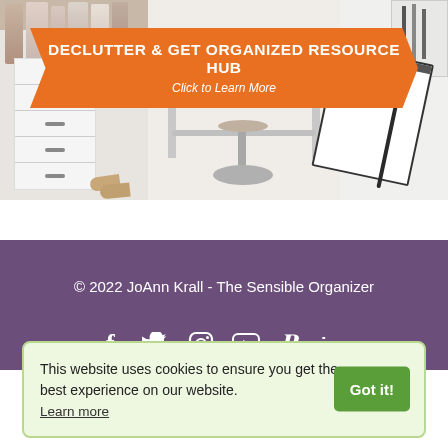[Figure (photo): Collage of organized home spaces: closet with white drawers and hanging clothes, minimalist desk with chair, and desk accessories including a notepad and pen, with an orange arrow-shaped banner overlay reading 'DECLUTTER & GET ORGANIZED RESOURCE HUB' and 'Click to Learn More']
© 2022 JoAnn Krall - The Sensible Organizer
This website uses cookies to ensure you get the best experience on our website. Learn more
Got it!